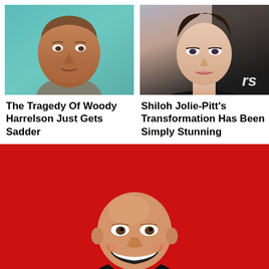[Figure (photo): Close-up photo of Woody Harrelson, middle-aged man with stubble, teal background]
The Tragedy Of Woody Harrelson Just Gets Sadder
[Figure (photo): Close-up photo of Shiloh Jolie-Pitt, young woman with dark hair and makeup, partial 'rs' text visible on right]
Shiloh Jolie-Pitt's Transformation Has Been Simply Stunning
[Figure (illustration): Cartoon/caricature of Bruce Willis smiling broadly, wearing black suit, on red background covered with white cartoon face emoji logos]